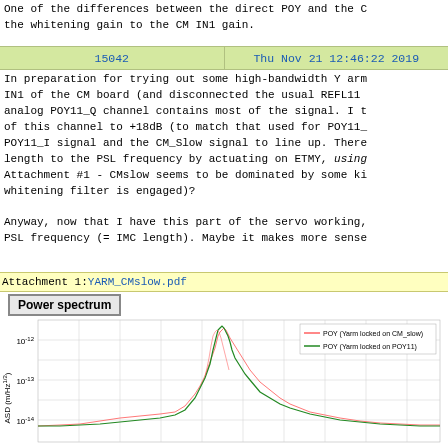One of the differences between the direct POY and the C the whitening gain to the CM IN1 gain.
| 15042 | Thu Nov 21 12:46:22 2019 |
| --- | --- |
In preparation for trying out some high-bandwidth Y arm IN1 of the CM board (and disconnected the usual REFL11 analog POY11_Q channel contains most of the signal. I t of this channel to +18dB (to match that used for POY11_ POY11_I signal and the CM_Slow signal to line up. There length to the PSL frequency by actuating on ETMY, using Attachment #1 - CMslow seems to be dominated by some ki whitening filter is engaged)?

Anyway, now that I have this part of the servo working, PSL frequency (= IMC length). Maybe it makes more sense
Attachment 1: YARM_CMslow.pdf
Power spectrum
[Figure (continuous-plot): Power spectrum plot showing ASD (m/Hz^1/2) vs frequency. Two traces: red = POY (Yarm locked on CM_slow), green = POY (Yarm locked on POY11). Y-axis ranges from ~10^-14 to 10^-12. Large peaks visible around center frequency.]